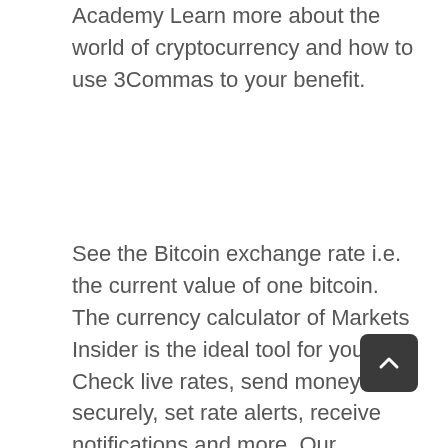Academy Learn more about the world of cryptocurrency and how to use 3Commas to your benefit.
See the Bitcoin exchange rate i.e. the current value of one bitcoin. The currency calculator of Markets Insider is the ideal tool for you. Check live rates, send money securely, set rate alerts, receive notifications and more. Our currency rankings show that the most popular Bitcoin exchange rate is the XBT to USD rate. There is no official ISO code for Bitcoins, although XBT is commonly